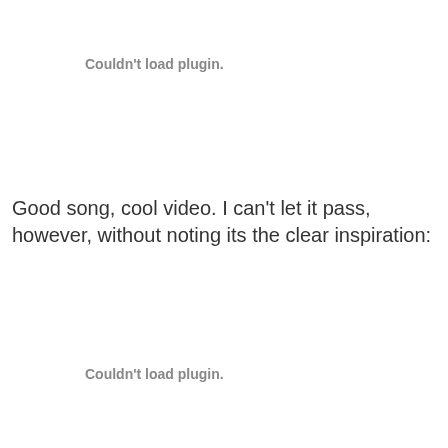Couldn't load plugin.
Good song, cool video. I can't let it pass, however, without noting its the clear inspiration:
Couldn't load plugin.